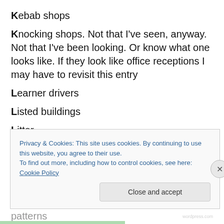Kebab shops
Knocking shops. Not that I've seen, anyway. Not that I've been looking. Or know what one looks like. If they look like office receptions I may have to revisit this entry
Learner drivers
Listed buildings
Litter
Long grass. Like long hair, it's redolent of anarchy and will not be tolerated. There are little parks and gardens in Canary Wharf but they are enthusiastically maintained, with all the plants laid out in regimented rows and patterns
Privacy & Cookies: This site uses cookies. By continuing to use this website, you agree to their use. To find out more, including how to control cookies, see here: Cookie Policy